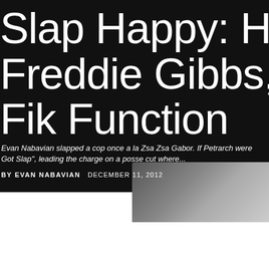Slap Happy: Ho Freddie Gibbs, Fik Function
Evan Nabavian slapped a cop once a la Zsa Zsa Gabor. If Petrarch were Got Slap", leading the charge on a posse cut where...
BY EVAN NABAVIAN   DECEMBER 11, 2012
[Figure (photo): Partial photo of a person, dark toned, visible in lower right area of black background section]